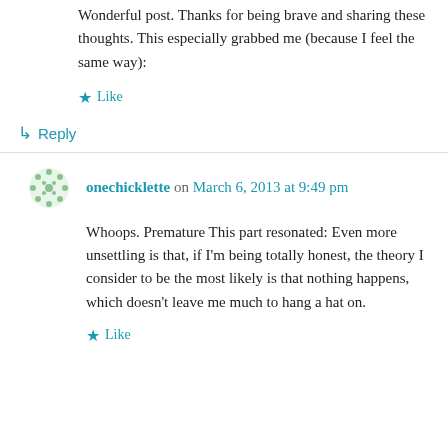Wonderful post. Thanks for being brave and sharing these thoughts. This especially grabbed me (because I feel the same way):
Like
Reply
onechicklette on March 6, 2013 at 9:49 pm
Whoops. Premature This part resonated: Even more unsettling is that, if I'm being totally honest, the theory I consider to be the most likely is that nothing happens, which doesn't leave me much to hang a hat on.
Like